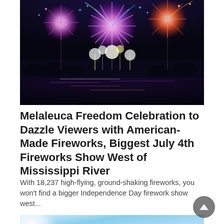[Figure (photo): Colorful fireworks display over a reflective body of water at night, with large bursts of red, purple, white, blue and gold fireworks exploding in the dark sky, with silhouetted treeline and water reflections below.]
Melaleuca Freedom Celebration to Dazzle Viewers with American-Made Fireworks, Biggest July 4th Fireworks Show West of Mississippi River
With 18,237 high-flying, ground-shaking fireworks, you won't find a bigger Independence Day firework show west...
[Figure (photo): Partial view of a second image, showing bright blue sky with some light and lens flare effects, partially visible at bottom of page.]